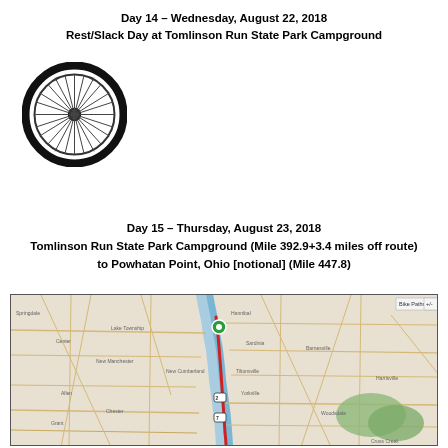Day 14 – Wednesday, August 22, 2018
Rest/Slack Day at Tomlinson Run State Park Campground
[Figure (illustration): Bicycle wheel icon — black tire with spokes radiating from center hub]
Day 15 – Thursday, August 23, 2018
Tomlinson Run State Park Campground (Mile 392.9+3.4 miles off route) to Powhatan Point, Ohio [notional] (Mile 447.8)
[Figure (map): Road map showing route from Tomlinson Run State Park Campground to Powhatan Point, Ohio, with a red route line running south along the Ohio River. A green marker dot is visible near the starting point.]